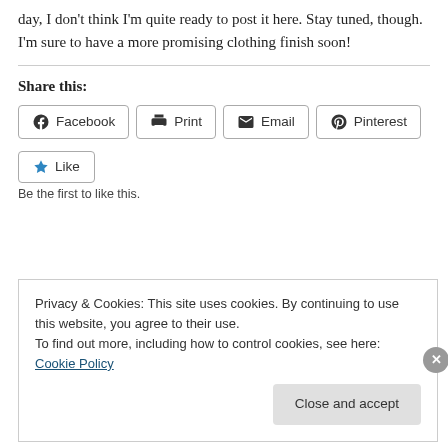day, I don't think I'm quite ready to post it here. Stay tuned, though. I'm sure to have a more promising clothing finish soon!
Share this:
[Figure (other): Social share buttons: Facebook, Print, Email, Pinterest]
[Figure (other): Like button with star icon]
Be the first to like this.
Privacy & Cookies: This site uses cookies. By continuing to use this website, you agree to their use.
To find out more, including how to control cookies, see here: Cookie Policy